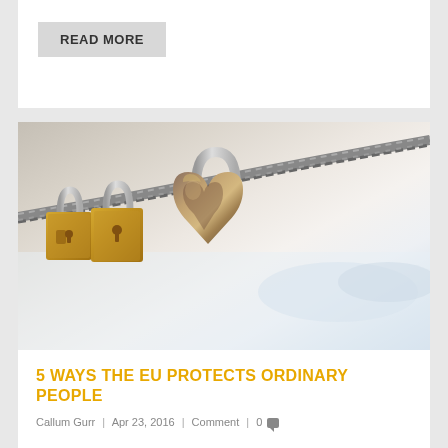READ MORE
[Figure (photo): Photo of padlocks on a rope/cable. Two gold/brass padlocks on the left and a large heart-shaped bronze padlock in the center, hanging from a twisted metal rope/cable. Background is blurred light blue/white.]
5 WAYS THE EU PROTECTS ORDINARY PEOPLE
Callum Gurr | Apr 23, 2016 | Comment | 0